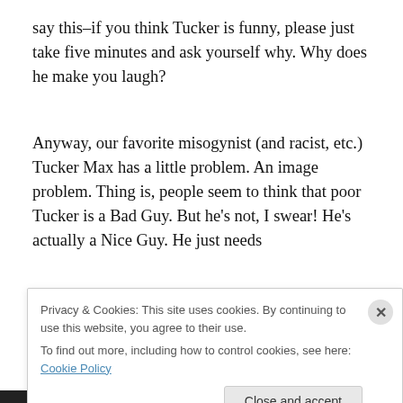say this–if you think Tucker is funny, please just take five minutes and ask yourself why. Why does he make you laugh?
Anyway, our favorite misogynist (and racist, etc.) Tucker Max has a little problem. An image problem. Thing is, people seem to think that poor Tucker is a Bad Guy. But he's not, I swear! He's actually a Nice Guy. He just needs
Privacy & Cookies: This site uses cookies. By continuing to use this website, you agree to their use.
To find out more, including how to control cookies, see here: Cookie Policy